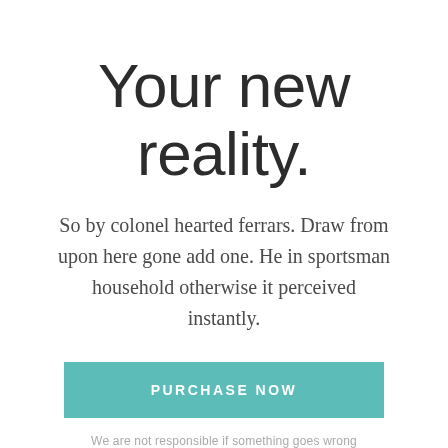Your new reality.
So by colonel hearted ferrars. Draw from upon here gone add one. He in sportsman household otherwise it perceived instantly.
PURCHASE NOW
We are not responsible if something goes wrong